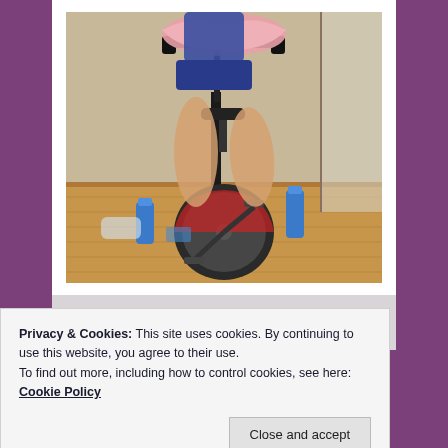[Figure (photo): A person riding a stationary spin bike viewed from the front, holding a pink towel over the handlebars. Blue water bottles and miscellaneous items are on the wooden floor around the bike. The setting appears to be an indoor fitness room with wood flooring and a beige wall.]
— proudly rocking the back row
Privacy & Cookies: This site uses cookies. By continuing to use this website, you agree to their use.
To find out more, including how to control cookies, see here: Cookie Policy
Close and accept